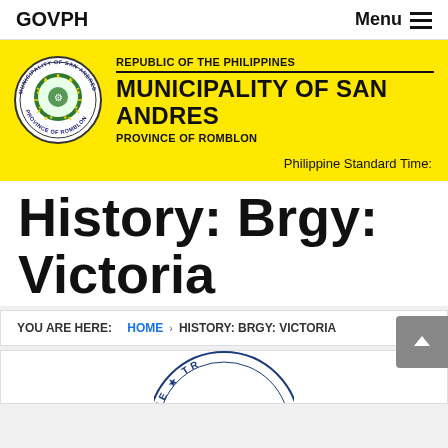GOVPH   Menu
[Figure (logo): Municipality of San Andres, Province of Romblon official seal with text: Republic of the Philippines, Municipality of San Andres, Province of Romblon. Philippine Standard Time displayed at the bottom right.]
History: Brgy: Victoria
YOU ARE HERE:  HOME  >  HISTORY: BRGY: VICTORIA
[Figure (illustration): Partial view of a circular official seal/stamp at the bottom of the page]